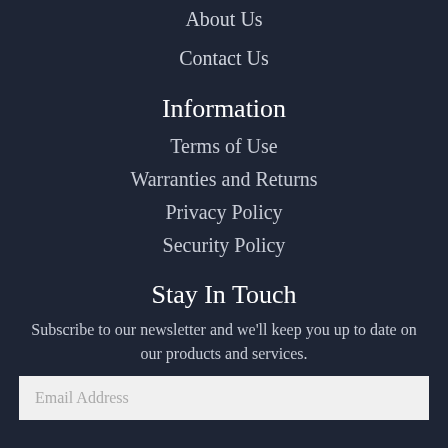About Us
Contact Us
Information
Terms of Use
Warranties and Returns
Privacy Policy
Security Policy
Stay In Touch
Subscribe to our newsletter and we'll keep you up to date on our products and services.
Email Address